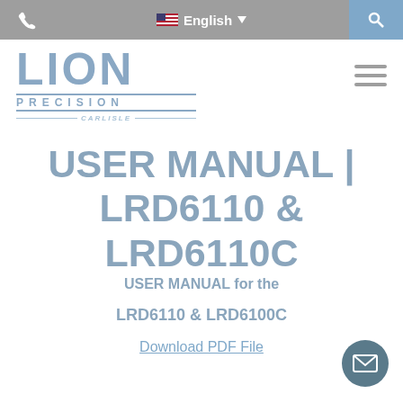English
[Figure (logo): Lion Precision logo with 'LION PRECISION by Carlisle' text]
USER MANUAL | LRD6110 & LRD6110C
USER MANUAL for the
LRD6110 & LRD6100C
Download PDF File